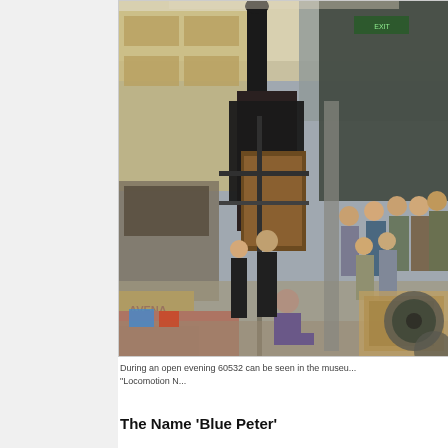[Figure (photo): Interior of a railway museum during an open evening. Visitors are gathered around a large historic steam locomotive (60532). The scene shows people of various ages standing and sitting in a large industrial hall filled with railway exhibits, vintage signs including 'AVENA', and rolling stock. Red tables/benches are visible in the foreground.]
During an open evening 60532 can be seen in the museu... "Locomotion N...
The Name 'Blue Peter'